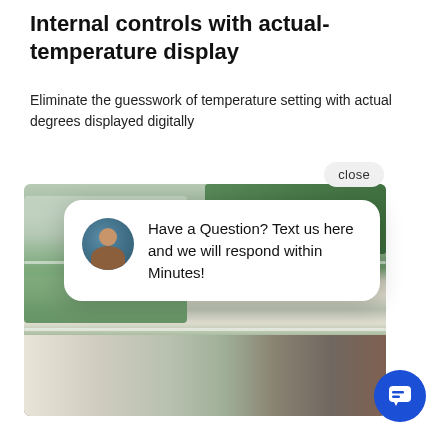Internal controls with actual-temperature display
Eliminate the guesswork of temperature setting with actual degrees displayed digitally
[Figure (screenshot): Screenshot of a refrigerator product page showing an open fridge filled with vegetables and produce, overlaid with a customer chat popup. The popup shows a woman's avatar and the message: 'Have a Question? Text us here and we will respond within Minutes!' with a 'close' button and a blue chat bubble icon.]